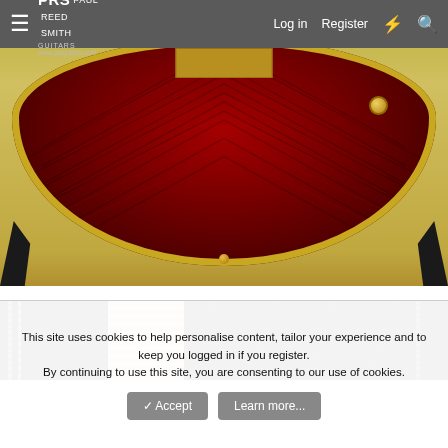PRS Paul Reed Smith Guitars — www.prsguitars.com | Log in | Register
[Figure (photo): Close-up photo of the back of a PRS guitar with deep red quilted maple top showing dramatic wood grain chevron pattern, gold hardware including knob and tailpiece, on a black guitar stand. Cream/gold background.]
[Figure (photo): Close-up photo of a guitar case interior showing black fabric lining with zipper, pink/cream padded divider, and dark quilted interior sections.]
This site uses cookies to help personalise content, tailor your experience and to keep you logged in if you register.
By continuing to use this site, you are consenting to our use of cookies.
✓ Accept   Learn more...